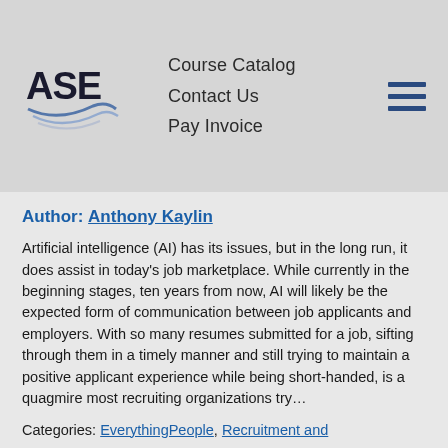Course Catalog | Contact Us | Pay Invoice
Author: Anthony Kaylin
Artificial intelligence (AI) has its issues, but in the long run, it does assist in today’s job marketplace.  While currently in the beginning stages, ten years from now, AI will likely be the expected form of communication between job applicants and employers.  With so many resumes submitted for a job, sifting through them in a timely manner and still trying to maintain a positive applicant experience while being short-handed, is a quagmire most recruiting organizations try…
Categories: EverythingPeople, Recruitment and